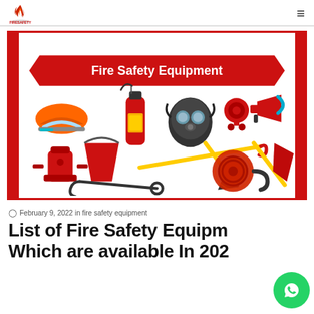Fire Safety logo and navigation
[Figure (illustration): Fire Safety Equipment infographic showing various fire safety items: helmet, fire extinguisher, gas mask, alarm bell, megaphone, fire hydrant, sand bucket, shovel, hose reel, axe, and hooks. Red banner at top reads 'Fire Safety Equipment'. Red vertical bars on left and right sides of the image border.]
February 9, 2022 in fire safety equipment
List of Fire Safety Equipment Which are available In 2022